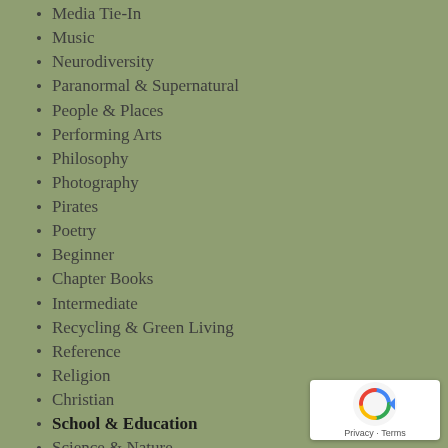Media Tie-In
Music
Neurodiversity
Paranormal & Supernatural
People & Places
Performing Arts
Philosophy
Photography
Pirates
Poetry
Beginner
Chapter Books
Intermediate
Recycling & Green Living
Reference
Religion
Christian
School & Education
Science & Nature
Social Science
Social Topics
Spies & Spying